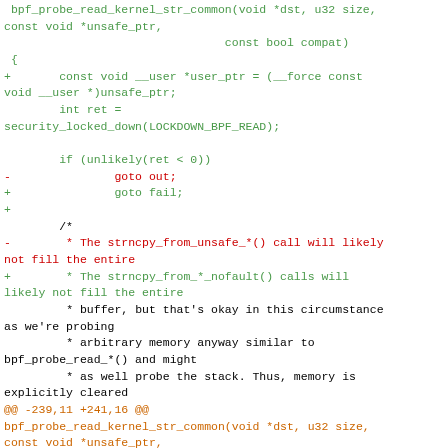[Figure (other): Code diff snippet showing changes to bpf_probe_read_kernel_str_common function in C, with green additions, red deletions, and orange context/hunk headers]